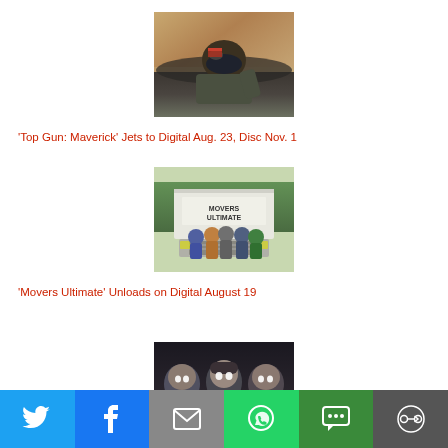[Figure (photo): Top Gun Maverick movie still: pilot in cockpit wearing helmet and mask, aerial shot]
‘Top Gun: Maverick’ Jets to Digital Aug. 23, Disc Nov. 1
[Figure (photo): Movers Ultimate movie still: group of young people posing in front of a moving truck]
‘Movers Ultimate’ Unloads on Digital August 19
[Figure (photo): Dark scene with three people looking forward, partially visible at bottom of page]